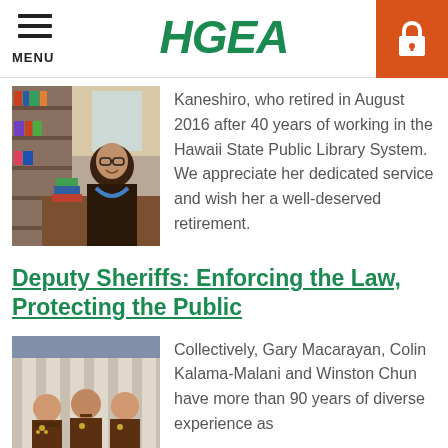MENU | HGEA
[Figure (photo): Woman smiling behind a library desk with books]
Kaneshiro, who retired in August 2016 after 40 years of working in the Hawaii State Public Library System. We appreciate her dedicated service and wish her a well-deserved retirement.
Deputy Sheriffs: Enforcing the Law, Protecting the Public
[Figure (photo): Three deputy sheriffs in uniform posing in front of a building]
Collectively, Gary Macarayan, Colin Kalama-Malani and Winston Chun have more than 90 years of diverse experience as